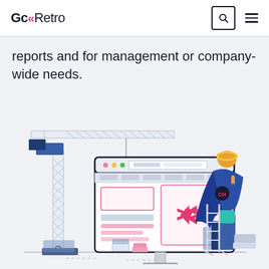GcRetro
reports and for management or company-wide needs.
[Figure (illustration): Illustration of a construction crane next to a large computer monitor displaying a website with a double-left-arrow logo. A superhero figure wearing a blue cape and hard hat stands on a ladder to the right of the monitor. Various boxes and objects are on the ground. The scene represents website building or development.]